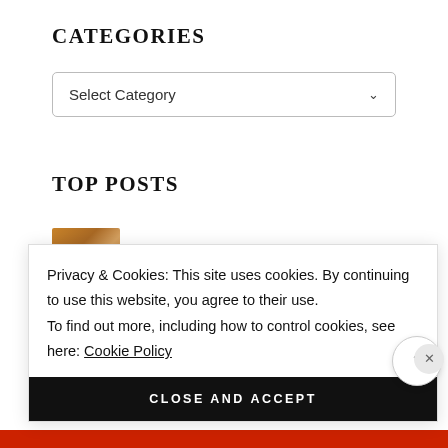CATEGORIES
Select Category
TOP POSTS
[Figure (photo): Partial thumbnail image of a top post, showing warm brown tones]
Privacy & Cookies: This site uses cookies. By continuing to use this website, you agree to their use.
To find out more, including how to control cookies, see here: Cookie Policy
CLOSE AND ACCEPT